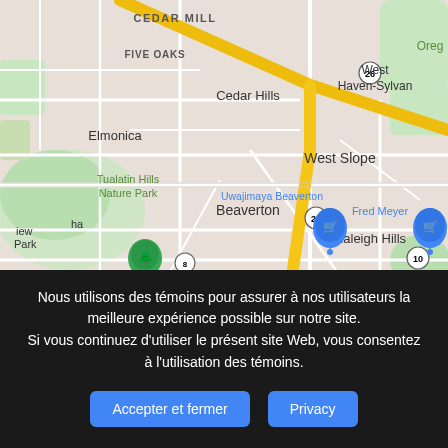[Figure (map): Google Maps screenshot showing the Beaverton, Oregon area including Cedar Hills, West Slope, Tualatin Hills Nature Park, Elmonica, West Haven-Sylvan, Raleigh Hills, and labels for Uwajimaya Beaverton, Fred Meyer, and Walmart stores. Highway 26 is shown as a prominent yellow road.]
Nous utilisons des témoins pour assurer à nos utilisateurs la meilleure expérience possible sur notre site. Si vous continuez d'utiliser le présent site Web, vous consentez à l'utilisation des témoins.
Accepter et fermer | Privacy